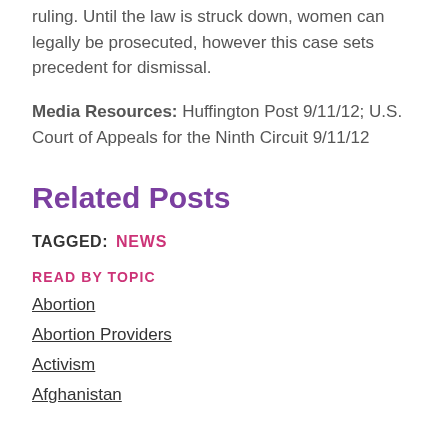ruling. Until the law is struck down, women can legally be prosecuted, however this case sets precedent for dismissal.
Media Resources: Huffington Post 9/11/12; U.S. Court of Appeals for the Ninth Circuit 9/11/12
Related Posts
TAGGED: NEWS
READ BY TOPIC
Abortion
Abortion Providers
Activism
Afghanistan